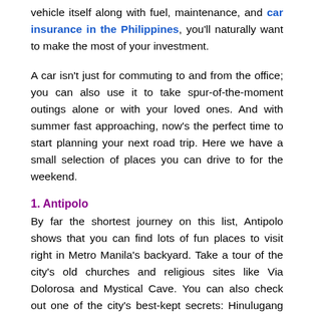vehicle itself along with fuel, maintenance, and car insurance in the Philippines, you'll naturally want to make the most of your investment.
A car isn't just for commuting to and from the office; you can also use it to take spur-of-the-moment outings alone or with your loved ones. And with summer fast approaching, now's the perfect time to start planning your next road trip. Here we have a small selection of places you can drive to for the weekend.
1. Antipolo
By far the shortest journey on this list, Antipolo shows that you can find lots of fun places to visit right in Metro Manila's backyard. Take a tour of the city's old churches and religious sites like Via Dolorosa and Mystical Cave. You can also check out one of the city's best-kept secrets: Hinulugang Taktak, a protected national park and waterfall.